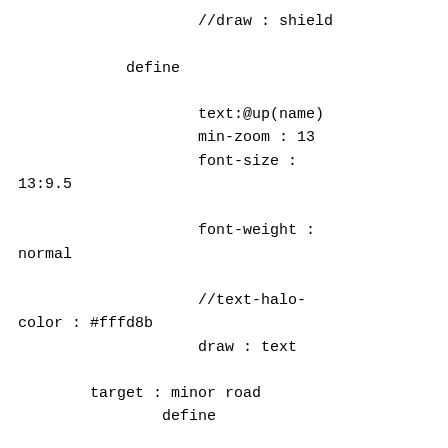//draw : shield

            define

                    text:@up(name)
                    min-zoom : 13
                    font-size : 13:9.5

                    font-weight : normal

                    //text-halo-color : #fffd8b
                    draw : text

        target : minor road
                define

                        min-zoom : 10.5
                        max-zoom : 13.1